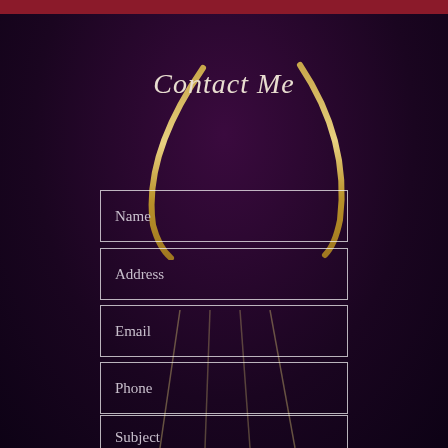Contact Me
Name
Address
Email
Phone
Subject